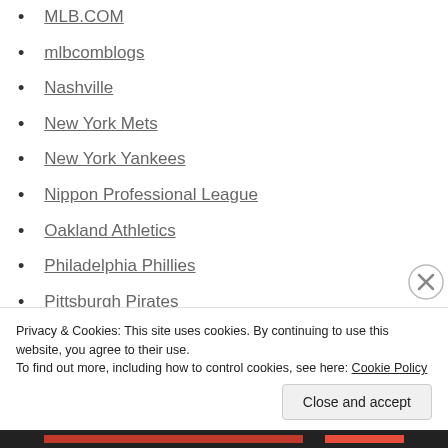MLB.COM
mlbcomblogs
Nashville
New York Mets
New York Yankees
Nippon Professional League
Oakland Athletics
Philadelphia Phillies
Pittsburgh Pirates
puerto rico
Sports
Sports Illustrated
Privacy & Cookies: This site uses cookies. By continuing to use this website, you agree to their use.
To find out more, including how to control cookies, see here: Cookie Policy
Close and accept